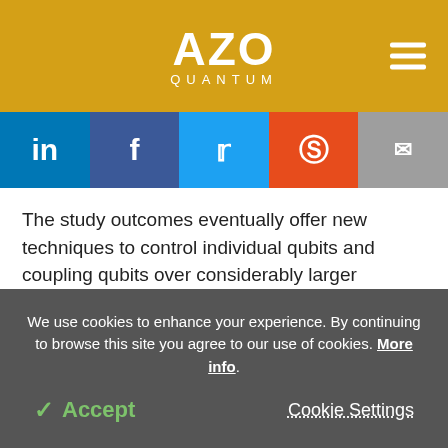AZO QUANTUM
[Figure (infographic): Social share bar with LinkedIn, Facebook, Twitter, Reddit, and Email icons]
The study outcomes eventually offer new techniques to control individual qubits and coupling qubits over considerably larger distances, which will render the chip fabrication process highly flexible.
Moreover, the electrical interaction enables coupling to other quantum systems, offering the potential for
We use cookies to enhance your experience. By continuing to browse this site you agree to our use of cookies. More info.
✓ Accept   Cookie Settings